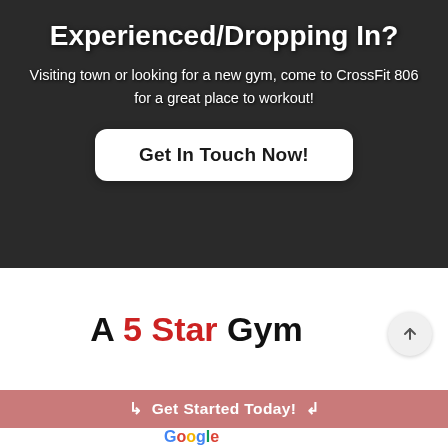Experienced/Dropping In?
Visiting town or looking for a new gym, come to CrossFit 806 for a great place to workout!
Get In Touch Now!
A 5 Star Gym
↳ Get Started Today! ↲
[Figure (other): Partial Google logo visible at the bottom of the page]